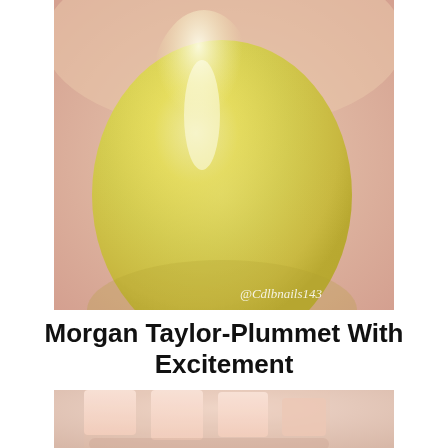[Figure (photo): Close-up macro photo of a nail painted with a shimmery pale yellow nail polish, held against a soft pink/nude background. Watermark text '@Cdlbnails143' in white cursive in bottom right corner.]
Morgan Taylor-Plummet With Excitement
[Figure (photo): Close-up photo of a hand with square-shaped nails painted in a very light pale pink/blush nail polish, against a soft background.]